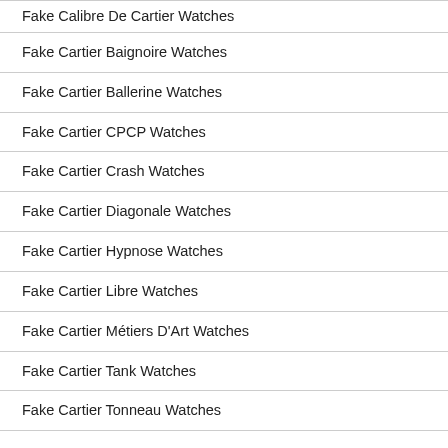Fake Calibre De Cartier Watches
Fake Cartier Baignoire Watches
Fake Cartier Ballerine Watches
Fake Cartier CPCP Watches
Fake Cartier Crash Watches
Fake Cartier Diagonale Watches
Fake Cartier Hypnose Watches
Fake Cartier Libre Watches
Fake Cartier Métiers D'Art Watches
Fake Cartier Tank Watches
Fake Cartier Tonneau Watches